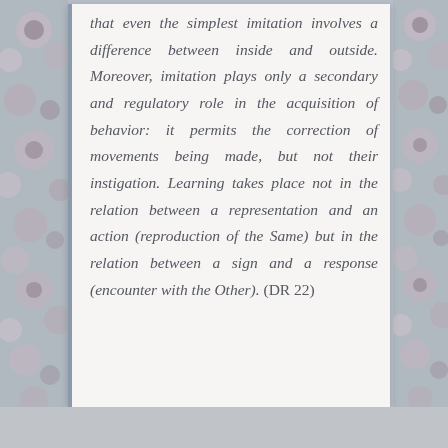that even the simplest imitation involves a difference between inside and outside. Moreover, imitation plays only a secondary and regulatory role in the acquisition of behavior: it permits the correction of movements being made, but not their instigation. Learning takes place not in the relation between a representation and an action (reproduction of the Same) but in the relation between a sign and a response (encounter with the Other). (DR 22)